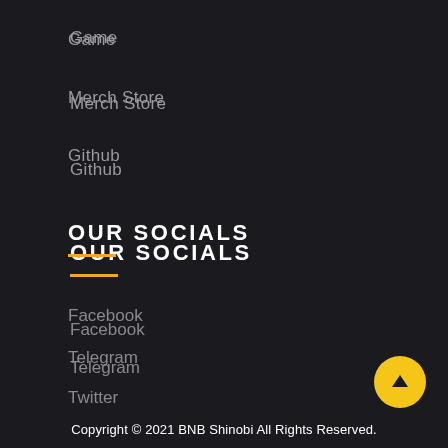Game
Merch Store
Github
OUR SOCIALS
Facebook
Telegram
Twitter
Reddit
Copyright © 2021 BNB Shinobi All Rights Reserved.